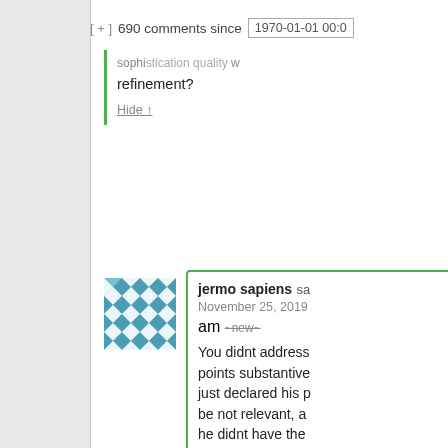[ + ] 690 comments since 1970-01-01 00:0
know whether to give the sophistication quality w refinement?
Hide ↑
jermo sapiens said: November 25, 2019 am "~new~"
You didnt address points substantive just declared his p be not relevant, a he didnt have the qualifications.
I dont care about qualifications. Cli science is a relati